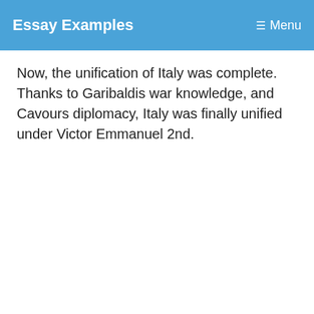Essay Examples   Menu
Now, the unification of Italy was complete. Thanks to Garibaldis war knowledge, and Cavours diplomacy, Italy was finally unified under Victor Emmanuel 2nd.